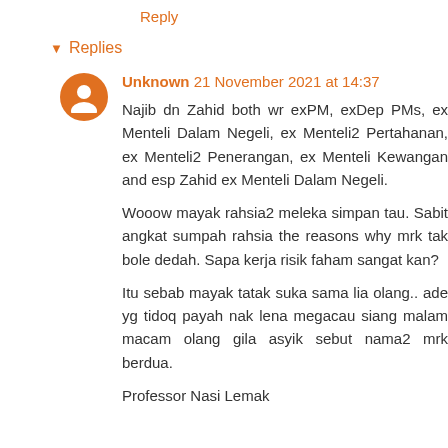Reply
▼ Replies
Unknown 21 November 2021 at 14:37

Najib dn Zahid both wr exPM, exDep PMs, ex Menteli Dalam Negeli, ex Menteli2 Pertahanan, ex Menteli2 Penerangan, ex Menteli Kewangan and esp Zahid ex Menteli Dalam Negeli.

Wooow mayak rahsia2 meleka simpan tau. Sabit angkat sumpah rahsia the reasons why mrk tak bole dedah. Sapa kerja risik faham sangat kan?

Itu sebab mayak tatak suka sama lia olang.. ade yg tidoq payah nak lena megacau siang malam macam olang gila asyik sebut nama2 mrk berdua.

Professor Nasi Lemak